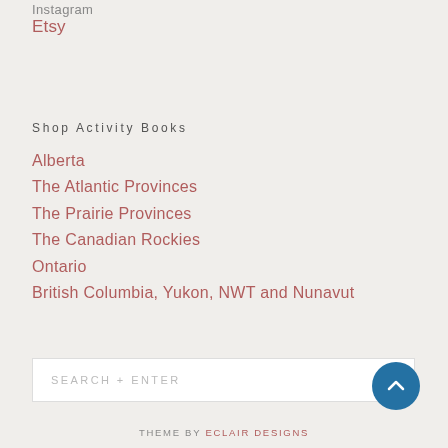Instagram
Etsy
Shop Activity Books
Alberta
The Atlantic Provinces
The Prairie Provinces
The Canadian Rockies
Ontario
British Columbia, Yukon, NWT and Nunavut
SEARCH + ENTER
THEME BY ECLAIR DESIGNS